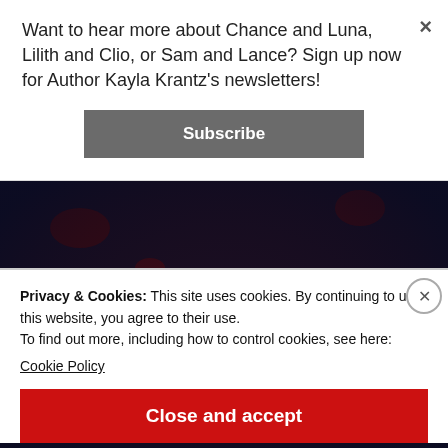Want to hear more about Chance and Luna, Lilith and Clio, or Sam and Lance? Sign up now for Author Kayla Krantz's newsletters!
Subscribe
[Figure (illustration): Dark background book cover image with large white serif text reading WARRIORS, with dark red decorative elements]
Privacy & Cookies: This site uses cookies. By continuing to use this website, you agree to their use.
To find out more, including how to control cookies, see here:
Cookie Policy
Close and accept